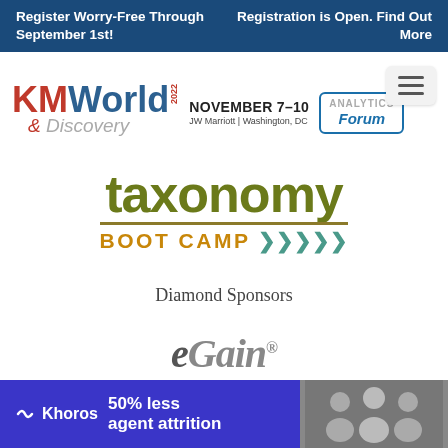Register Worry-Free Through September 1st! | Registration is Open. Find Out More
[Figure (logo): KMWorld & Discovery 2022 logo with NOVEMBER 7–10, JW Marriott | Washington, DC and Analytics Forum branding, plus hamburger menu icon]
taxonomy
BOOT CAMP >>>
Diamond Sponsors
[Figure (logo): eGain logo (italic, partial)]
[Figure (infographic): Khoros advertisement banner: '50% less agent attrition' with photo of smiling people]